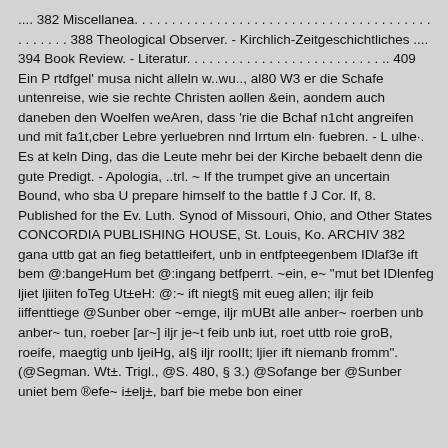.... 382 Miscellanea. . . . . . . . . . . . . . . . . . . . . . . . . . . . . . . . . . . . . . . . . . 388 Theological Observer. - Kirchlich-Zeitgeschichtliches .... 394 Book Review. - Literatur. . . . . . . . . . . . . . . . . . . . . . . . . .. 409 Ein P rtdfgel' musa nicht alleln w..wu.., al80 W3 er die Schafe untenreise, wie sie rechte Christen aollen &ein, aondem auch daneben den Woelfen weAren, dass 'rie die Bchaf n1cht angreifen und mit fa1t,cber Lebre yerluebren nnd Irrtum eln· fuebren. - L ulhe·. Es at keln Ding, das die Leute mehr bei der Kirche bebaelt denn die gute Predigt. - Apologia, ..trl. ~ If the trumpet give an uncertain Bound, who sba U prepare himself to the battle f J Cor. If, 8. Published for the Ev. Luth. Synod of Missouri, Ohio, and Other States CONCORDIA PUBLISHING HOUSE, St. Louis, Ko. ARCHIV 382 gana uttb gat an fieg betattleifert, unb in entfpteegenbem IDlaf3e ift bem @:bangeHum bet @:ingang betfperrt. ~ein, e~ "mut bet IDlenfeg ljiet ljiiten foTeg Ut±eH: @:~ ift niegt§ mit eueg allen; iljr feib iiffenttiege @Sunber ober ~emge, iljr mUBt aIle anber~ roerben unb anber~ tun, roeber [ar~] iljr je~t feib unb iut, roet uttb roie groB, roeife, maegtig unb ljeiHg, aI§ iljr rooIIt; ljier ift niemanb fromm". (@Segman. Wt±. Trigl., @S. 480, § 3.) @Sofange ber @Sunber uniet bem ®efe~ i±elj±, barf bie mebe bon einer